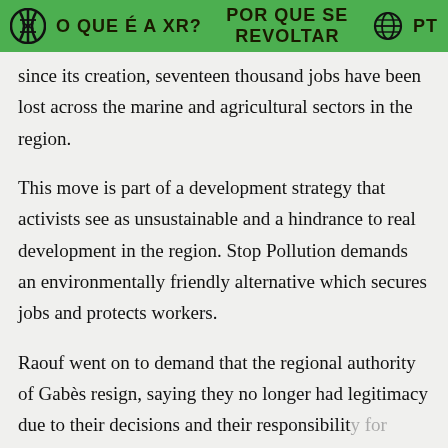O QUE É A XR?   POR QUE SE REVOLTAR   PT
since its creation, seventeen thousand jobs have been lost across the marine and agricultural sectors in the region.
This move is part of a development strategy that activists see as unsustainable and a hindrance to real development in the region. Stop Pollution demands an environmentally friendly alternative which secures jobs and protects workers.
Raouf went on to demand that the regional authority of Gabès resign, saying they no longer had legitimacy due to their decisions and their responsibility for...